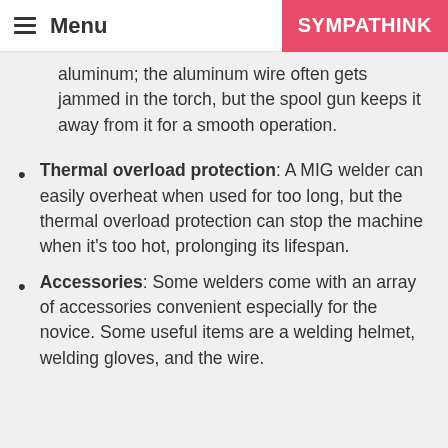Menu | SYMPATHINK
aluminum; the aluminum wire often gets jammed in the torch, but the spool gun keeps it away from it for a smooth operation.
Thermal overload protection: A MIG welder can easily overheat when used for too long, but the thermal overload protection can stop the machine when it’s too hot, prolonging its lifespan.
Accessories: Some welders come with an array of accessories convenient especially for the novice. Some useful items are a welding helmet, welding gloves, and the wire.